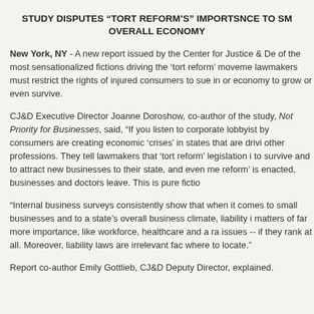STUDY DISPUTES “TORT REFORM’S” IMPORTSNCE TO SM OVERALL ECONOMY
New York, NY - A new report issued by the Center for Justice & De of the most sensationalized fictions driving the ‘tort reform’ moveme lawmakers must restrict the rights of injured consumers to sue in or economy to grow or even survive.
CJ&D Executive Director Joanne Doroshow, co-author of the study Not Priority for Businesses, said, “If you listen to corporate lobbyist by consumers are creating economic ‘crises’ in states that are drivi other professions. They tell lawmakers that ‘tort reform’ legislation i to survive and to attract new businesses to their state, and even me reform’ is enacted, businesses and doctors leave. This is pure fictio
“Internal business surveys consistently show that when it comes to small businesses and to a state’s overall business climate, liability i matters of far more importance, like workforce, healthcare and a ra issues -- if they rank at all. Moreover, liability laws are irrelevant fac where to locate.”
Report co-author Emily Gottlieb, CJ&D Deputy Director, explained.